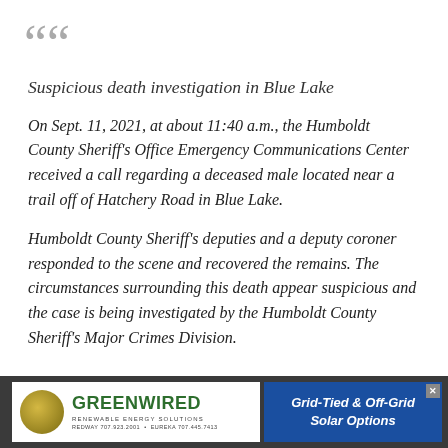Suspicious death investigation in Blue Lake
On Sept. 11, 2021, at about 11:40 a.m., the Humboldt County Sheriff's Office Emergency Communications Center received a call regarding a deceased male located near a trail off of Hatchery Road in Blue Lake.
Humboldt County Sheriff's deputies and a deputy coroner responded to the scene and recovered the remains. The circumstances surrounding this death appear suspicious and the case is being investigated by the Humboldt County Sheriff's Major Crimes Division.
[Figure (other): Advertisement for Greenwired Renewable Energy Solutions with grid-tied and off-grid solar options]